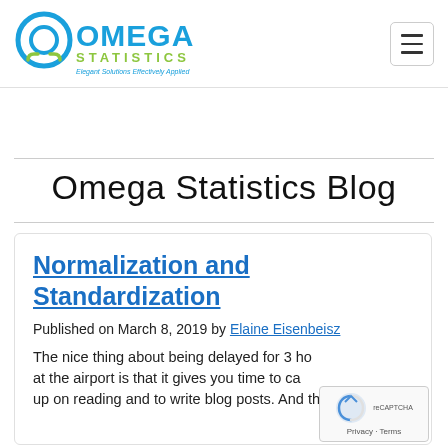[Figure (logo): Omega Statistics logo with circular icon and text 'OMEGA STATISTICS — Elegant Solutions Effectively Applied' in blue and green]
Omega Statistics — navigation header with hamburger menu
Omega Statistics Blog
Normalization and Standardization
Published on March 8, 2019 by Elaine Eisenbeisz
The nice thing about being delayed for 3 hours at the airport is that it gives you time to catch up on reading and to write blog posts. And the